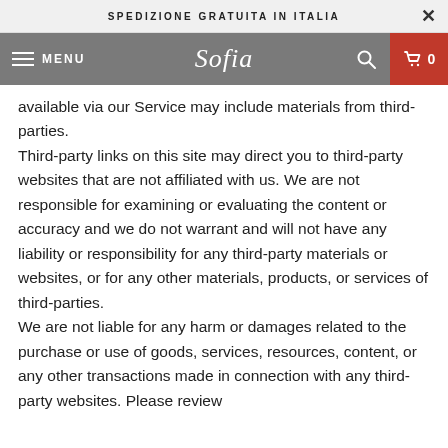SPEDIZIONE GRATUITA IN ITALIA
MENU — Sofia — 0
available via our Service may include materials from third-parties. Third-party links on this site may direct you to third-party websites that are not affiliated with us. We are not responsible for examining or evaluating the content or accuracy and we do not warrant and will not have any liability or responsibility for any third-party materials or websites, or for any other materials, products, or services of third-parties. We are not liable for any harm or damages related to the purchase or use of goods, services, resources, content, or any other transactions made in connection with any third-party websites. Please review